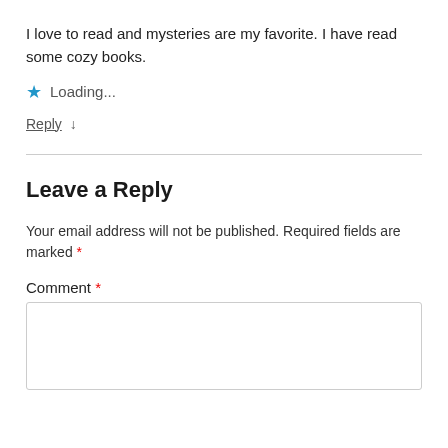I love to read and mysteries are my favorite. I have read some cozy books.
★ Loading...
Reply ↓
Leave a Reply
Your email address will not be published. Required fields are marked *
Comment *